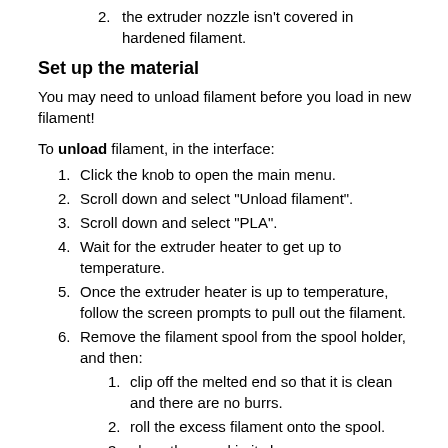2. the extruder nozzle isn't covered in hardened filament.
Set up the material
You may need to unload filament before you load in new filament!
To unload filament, in the interface:
1. Click the knob to open the main menu.
2. Scroll down and select "Unload filament".
3. Scroll down and select "PLA".
4. Wait for the extruder heater to get up to temperature.
5. Once the extruder heater is up to temperature, follow the screen prompts to pull out the filament.
6. Remove the filament spool from the spool holder, and then:
1. clip off the melted end so that it is clean and there are no burrs.
2. roll the excess filament onto the spool.
3. place the spool in its box.
4. place the box on the filament stock shelves.